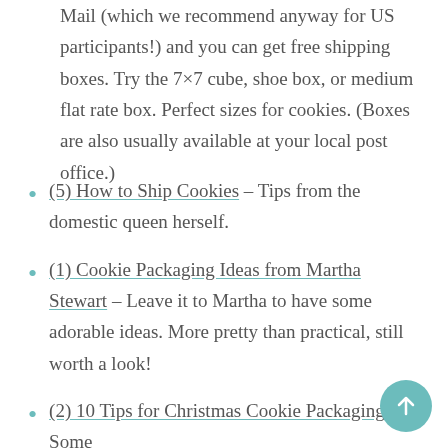Mail (which we recommend anyway for US participants!) and you can get free shipping boxes. Try the 7×7 cube, shoe box, or medium flat rate box. Perfect sizes for cookies. (Boxes are also usually available at your local post office.)
(5) How to Ship Cookies – Tips from the domestic queen herself.
(1) Cookie Packaging Ideas from Martha Stewart – Leave it to Martha to have some adorable ideas. More pretty than practical, still worth a look!
(2) 10 Tips for Christmas Cookie Packaging – Some cute ideas (not all shippable, but cute